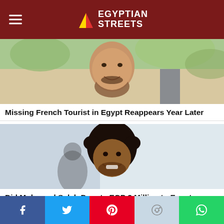Egyptian Streets
[Figure (photo): Portrait of a bald man with beard smiling outdoors with green trees in background]
Missing French Tourist in Egypt Reappears Year Later
[Figure (photo): Portrait of Mohamed Salah smiling with curly hair, light blurred background]
Did Mohamed Salah Donate EGP 3 Million to Egypt Church Fire Victims?